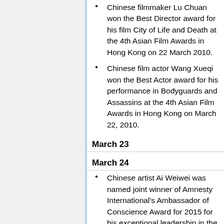Chinese filmmaker Lu Chuan won the Best Director award for his film City of Life and Death at the 4th Asian Film Awards in Hong Kong on 22 March 2010.
Chinese film actor Wang Xueqi won the Best Actor award for his performance in Bodyguards and Assassins at the 4th Asian Film Awards in Hong Kong on March 22, 2010.
March 23
March 24
Chinese artist Ai Weiwei was named joint winner of Amnesty International's Ambassador of Conscience Award for 2015 for his exceptional leadership in the fight for